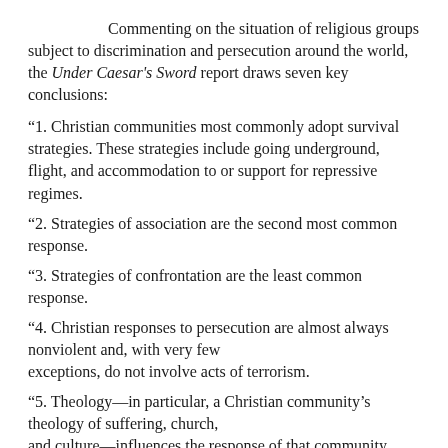Commenting on the situation of religious groups subject to discrimination and persecution around the world, the Under Caesar's Sword report draws seven key conclusions:
“1. Christian communities most commonly adopt survival strategies. These strategies include going underground, flight, and accommodation to or support for repressive regimes.
“2. Strategies of association are the second most common response.
“3. Strategies of confrontation are the least common response.
“4. Christian responses to persecution are almost always nonviolent and, with very few exceptions, do not involve acts of terrorism.
“5. Theology—in particular, a Christian community’s theology of suffering, church, and culture—influences the response of that community.